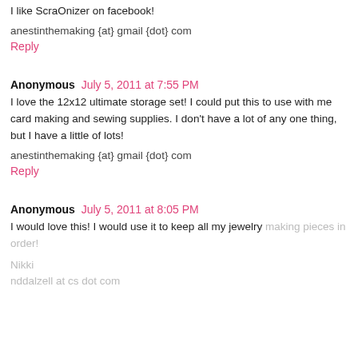I like ScraOnizer on facebook!
anestinthemaking {at} gmail {dot} com
Reply
Anonymous July 5, 2011 at 7:55 PM
I love the 12x12 ultimate storage set! I could put this to use with me card making and sewing supplies. I don't have a lot of any one thing, but I have a little of lots!
anestinthemaking {at} gmail {dot} com
Reply
Anonymous July 5, 2011 at 8:05 PM
I would love this! I would use it to keep all my jewelry making pieces in order!
Nikki
nddalzell at cs dot com